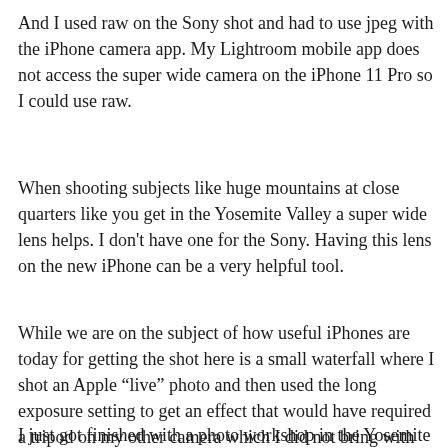And I used raw on the Sony shot and had to use jpeg with the iPhone camera app.  My Lightroom mobile app does not access the super wide camera on the iPhone 11 Pro so I could use raw.
When shooting subjects like huge mountains at close quarters like you get in the Yosemite Valley a super wide lens helps.  I don't have one for the Sony.  Having this lens on the new iPhone can be a very helpful tool.
While we are on the subject of how useful iPhones are today for getting the shot here is a small waterfall where I shot an Apple “live” photo and then used the long exposure setting to get an effect that would have required a tripod on my other camera which I did not bring with me on this shoot.
I just got finished with a photo workshop in the Yosemite